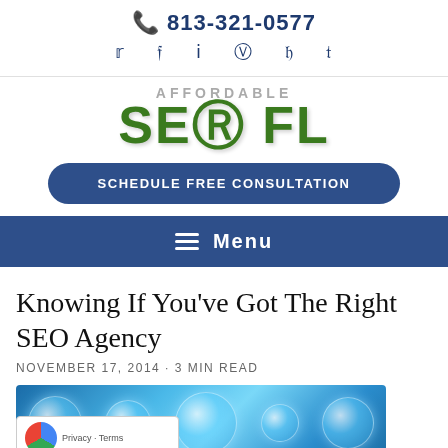📞 813-321-0577
Social icons: Twitter, Facebook, LinkedIn, Instagram, Pinterest, Tumblr
[Figure (logo): Affordable SEO FL logo with green bold letters]
SCHEDULE FREE CONSULTATION
Menu
Knowing If You've Got The Right SEO Agency
NOVEMBER 17, 2014 · 3 min read
[Figure (photo): Blue background with glowing aqua bubbles/spheres]